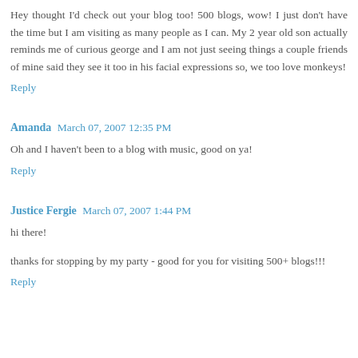Hey thought I'd check out your blog too! 500 blogs, wow! I just don't have the time but I am visiting as many people as I can. My 2 year old son actually reminds me of curious george and I am not just seeing things a couple friends of mine said they see it too in his facial expressions so, we too love monkeys!
Reply
Amanda  March 07, 2007 12:35 PM
Oh and I haven't been to a blog with music, good on ya!
Reply
Justice Fergie  March 07, 2007 1:44 PM
hi there!
thanks for stopping by my party - good for you for visiting 500+ blogs!!!
Reply